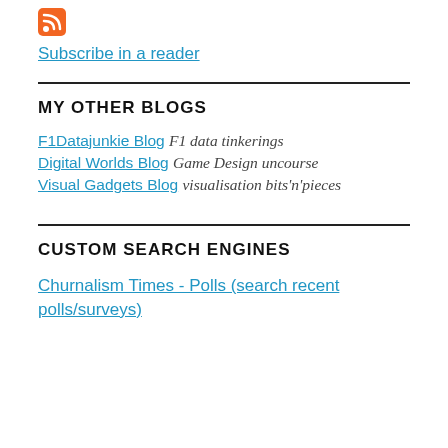[Figure (logo): Orange RSS feed icon button]
Subscribe in a reader
MY OTHER BLOGS
F1Datajunkie Blog  F1 data tinkerings
Digital Worlds Blog  Game Design uncourse
Visual Gadgets Blog  visualisation bits'n'pieces
CUSTOM SEARCH ENGINES
Churnalism Times - Polls (search recent polls/surveys)